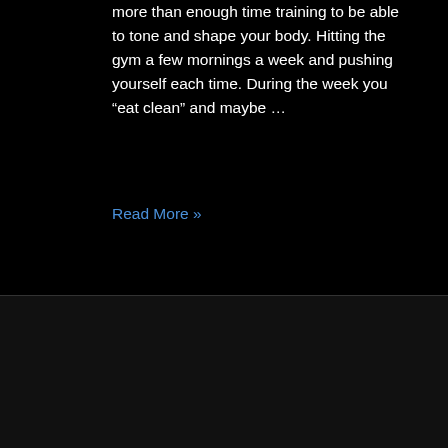more than enough time training to be able to tone and shape your body. Hitting the gym a few mornings a week and pushing yourself each time. During the week you “eat clean” and maybe …
Read More »
[Figure (photo): Photo of a smiling man in a black t-shirt, appearing to be at an indoor event or gym setting.]
5 THINGS THAT ARE STOPPING YOU LOSE YOUR GUT
[Figure (logo): reCAPTCHA widget showing the reCAPTCHA logo (circular arrows) and Privacy - Terms links.]